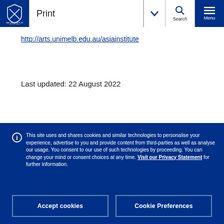Print | Search | Menu — University of Melbourne header
http://arts.unimelb.edu.au/asiainstitute
Last updated: 22 August 2022
This site uses and shares cookies and similar technologies to personalise your experience, advertise to you and provide content from third-parties as well as analyse our usage. You consent to our use of such technologies by proceeding. You can change your mind or consent choices at any time. Visit our Privacy Statement for further information.
Accept cookies
Cookie Preferences